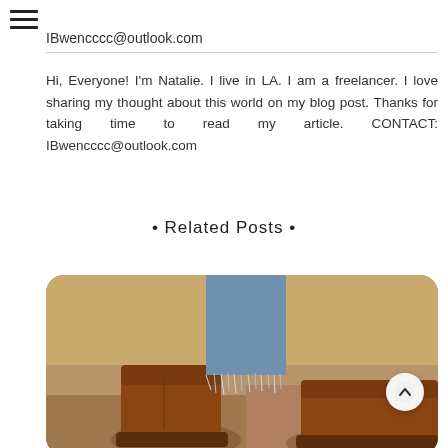≡
IBwencccc@outlook.com
Hi, Everyone! I'm Natalie. I live in LA. I am a freelancer. I love sharing my thought about this world on my blog post. Thanks for taking time to read my article. CONTACT: IBwencccc@outlook.com
• Related Posts •
[Figure (photo): Photo of brown leather ankle boots worn with distressed denim jeans, sitting on a stone surface. A circular back-to-top arrow button overlays the image.]